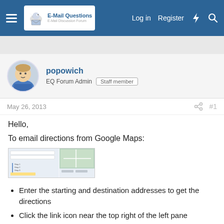E-Mail Questions forum header with Log in, Register navigation
[Figure (screenshot): Screenshot thumbnail of Google Maps directions interface]
popowich
EQ Forum Admin  Staff member
May 26, 2013  #1
Hello,
To email directions from Google Maps:
Enter the starting and destination addresses to get the directions
Click the link icon near the top right of the left pane
On the window that appears click the Send link